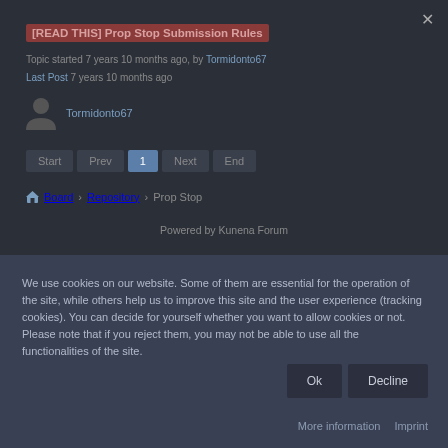[READ THIS] Prop Stop Submission Rules
Topic started 7 years 10 months ago, by Tormidonto67
Last Post 7 years 10 months ago
Tormidonto67
Start  Prev  1  Next  End
Board > Repository > Prop Stop
Powered by Kunena Forum
We use cookies on our website. Some of them are essential for the operation of the site, while others help us to improve this site and the user experience (tracking cookies). You can decide for yourself whether you want to allow cookies or not. Please note that if you reject them, you may not be able to use all the functionalities of the site.
Ok
Decline
More information  Imprint